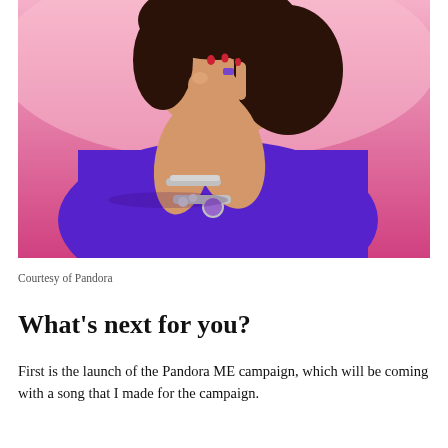[Figure (photo): A woman wearing a purple short-sleeve top against a pink background, with hands raised near her face in a thoughtful pose. She is wearing multiple silver charm bracelets on her wrist and rings on her fingers.]
Courtesy of Pandora
What's next for you?
First is the launch of the Pandora ME campaign, which will be coming with a song that I made for the campaign.